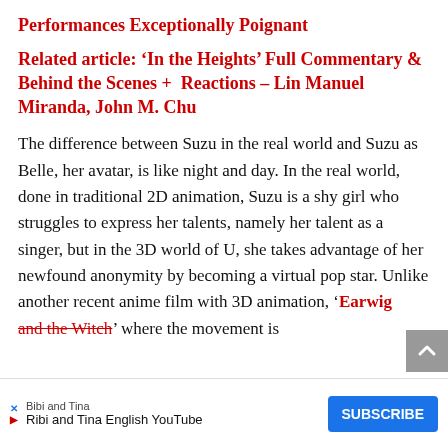Performances Exceptionally Poignant
Related article: ‘In the Heights’ Full Commentary & Behind the Scenes +  Reactions – Lin Manuel Miranda, John M. Chu
The difference between Suzu in the real world and Suzu as Belle, her avatar, is like night and day. In the real world, done in traditional 2D animation, Suzu is a shy girl who struggles to express her talents, namely her talent as a singer, but in the 3D world of U, she takes advantage of her newfound anonymity by becoming a virtual pop star. Unlike another recent anime film with 3D animation, ‘Earwig and the Witch’ where the movement is int... y
[Figure (other): Advertisement bar at bottom: Bibi and Tina - Ribi and Tina English YouTube channel with SUBSCRIBE button]